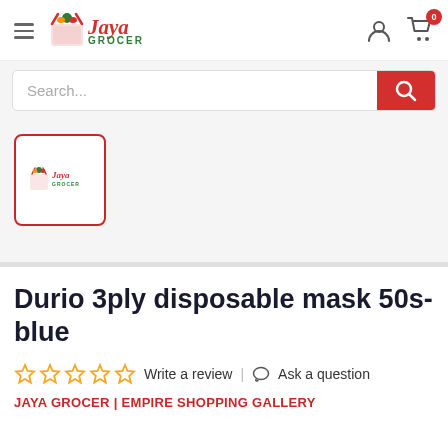[Figure (logo): Jaya Grocer logo with hamburger menu icon on the left and user/cart icons on the right]
[Figure (screenshot): Search bar with placeholder text 'Search...' and a red search button on the right]
[Figure (logo): Small Jaya Grocer logo thumbnail with red border, product image placeholder]
Durio 3ply disposable mask 50s-blue
Write a review | Ask a question
JAYA GROCER | EMPIRE SHOPPING GALLERY